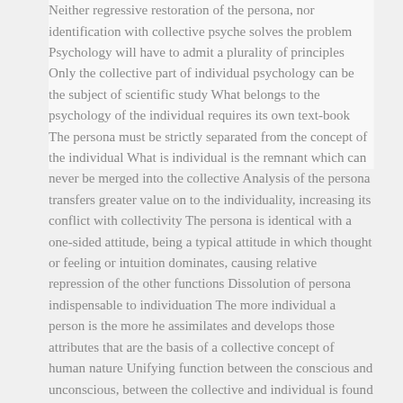Neither regressive restoration of the persona, nor identification with collective psyche solves the problem Psychology will have to admit a plurality of principles Only the collective part of individual psychology can be the subject of scientific study What belongs to the psychology of the individual requires its own text-book The persona must be strictly separated from the concept of the individual What is individual is the remnant which can never be merged into the collective Analysis of the persona transfers greater value on to the individuality, increasing its conflict with collectivity The persona is identical with a one-sided attitude, being a typical attitude in which thought or feeling or intuition dominates, causing relative repression of the other functions Dissolution of persona indispensable to individuation The more individual a person is the more he assimilates and develops those attributes that are the basis of a collective concept of human nature Unifying function between the conscious and unconscious, between the collective and individual is found in the phantasies Phantasy the creative soil for everything that has brought development to humanity Phantasy not to be taken literally but hermeneutically Hermeneutics adds analogies to those already given Hermeneutical interpretation indicates the means of synthesis of the individual, provided as soon as the symbolic outlines of the path are understood they are followed up Co-operation and honest endeavour essential to cure The moral factor determines the cure "Life-lines" have a short and ephemeral value Dreams are compensatory to conscious thinking Watch must be kept for dreams indicative of causes of error Hence the patient must remain in contact with the